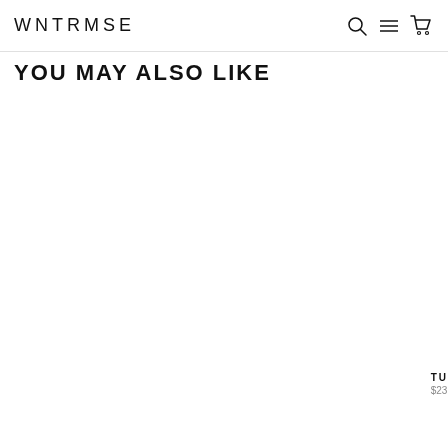WNTRMSE
YOU MAY ALSO LIKE
TU $23